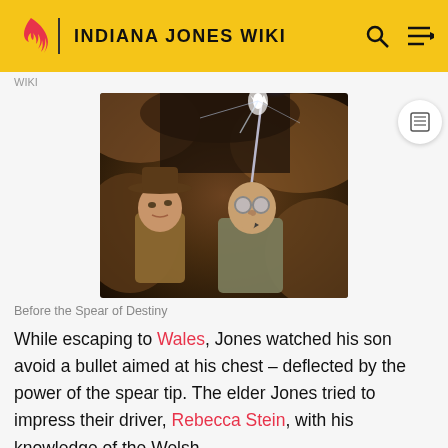INDIANA JONES WIKI
WIKI
[Figure (illustration): Illustration of two men in a cave looking up at a glowing spear tip (the Spear of Destiny). The man on the left wears a fedora hat, the man on the right wears goggle-style glasses and a bow tie, holding the glowing spear.]
Before the Spear of Destiny
While escaping to Wales, Jones watched his son avoid a bullet aimed at his chest – deflected by the power of the spear tip. The elder Jones tried to impress their driver, Rebecca Stein, with his knowledge of the Welsh